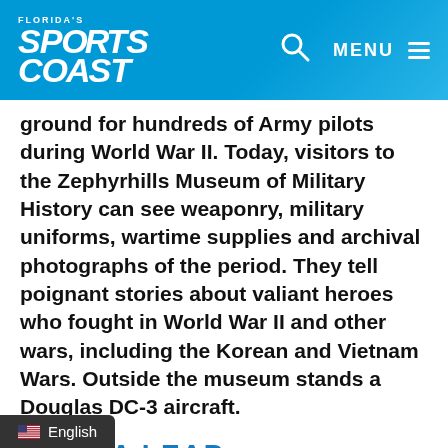Florida's Sports Coast | MENU
ground for hundreds of Army pilots during World War II. Today, visitors to the Zephyrhills Museum of Military History can see weaponry, military uniforms, wartime supplies and archival photographs of the period. They tell poignant stories about valiant heroes who fought in World War II and other wars, including the Korean and Vietnam Wars. Outside the museum stands a Douglas DC-3 aircraft.
TAKE A LEAP
Venture southeast of the museum, on the municipal airport property, where parachutists jump out of planes for fun. My, how times have cha[nged]
English